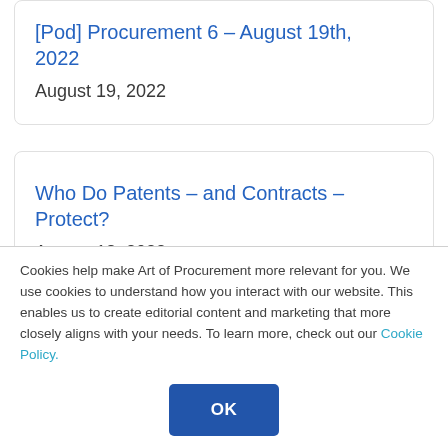[Pod] Procurement 6 – August 19th, 2022
August 19, 2022
Who Do Patents – and Contracts – Protect?
August 18, 2022
Cookies help make Art of Procurement more relevant for you. We use cookies to understand how you interact with our website. This enables us to create editorial content and marketing that more closely aligns with your needs. To learn more, check out our Cookie Policy.
OK